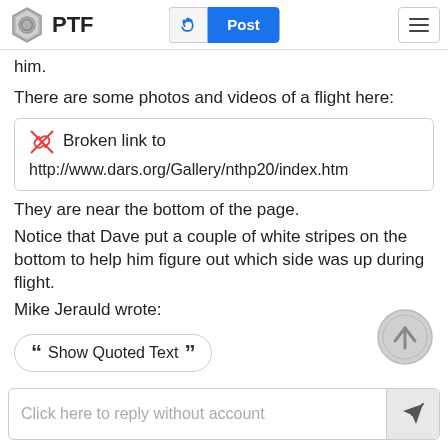PTF
him.
There are some photos and videos of a flight here:
Broken link to http://www.dars.org/Gallery/nthp20/index.htm
They are near the bottom of the page.
Notice that Dave put a couple of white stripes on the bottom to help him figure out which side was up during flight.
Mike Jerauld wrote:
Show Quoted Text
Click here to reply without account